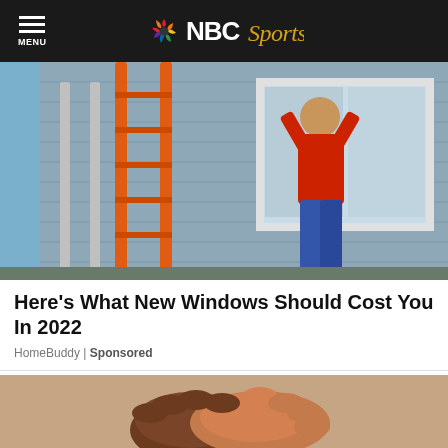MENU | NBC Sports
[Figure (photo): Workers installing a window on a house exterior using orange ladders]
Here's What New Windows Should Cost You In 2022
HomeBuddy | Sponsored
[Figure (photo): Hands clasped together, close-up shot]